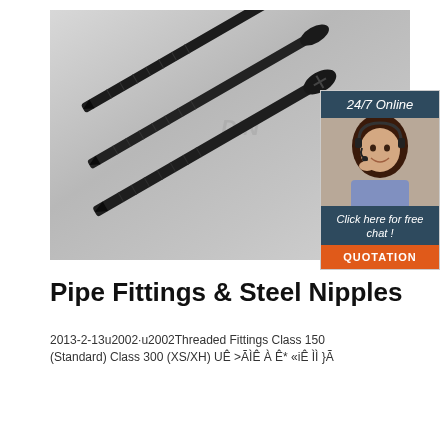[Figure (photo): Three black self-tapping screws arranged diagonally on a light gray metallic surface, with a customer service chat widget overlay in the top-right corner showing '24/7 Online', a woman with a headset, text 'Click here for free chat!' and an orange QUOTATION button]
Pipe Fittings & Steel Nipples
2013-2-13u2002·u2002Threaded Fittings Class 150 (Standard) Class 300 (XS/XH) UÊ >ÃÌÊ À Ê* «iÊ ÌÌ }Ã